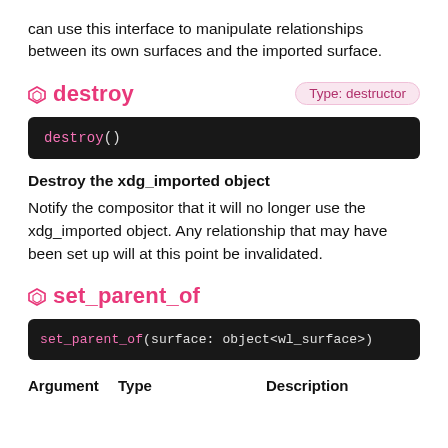can use this interface to manipulate relationships between its own surfaces and the imported surface.
destroy
Type: destructor
destroy()
Destroy the xdg_imported object
Notify the compositor that it will no longer use the xdg_imported object. Any relationship that may have been set up will at this point be invalidated.
set_parent_of
set_parent_of(surface: object<wl_surface>)
| Argument | Type | Description |
| --- | --- | --- |